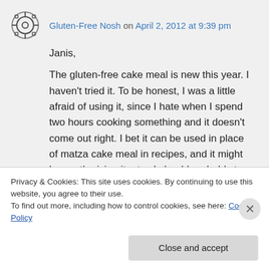Gluten-Free Nosh on April 2, 2012 at 9:39 pm
Janis,
The gluten-free cake meal is new this year. I haven't tried it. To be honest, I was a little afraid of using it, since I hate when I spend two hours cooking something and it doesn't come out right. I bet it can be used in place of matza cake meal in recipes, and it might be worth giving it a try. I should probably try it myself, too, so I know what it's like.
Privacy & Cookies: This site uses cookies. By continuing to use this website, you agree to their use.
To find out more, including how to control cookies, see here: Cookie Policy